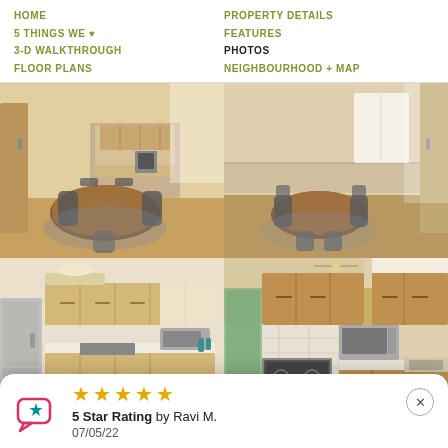HOME | 5 THINGS WE ♥ | 3-D WALKTHROUGH | FLOOR PLANS | PROPERTY DETAILS | FEATURES | PHOTOS | NEIGHBOURHOOD + MAP
[Figure (photo): Interior photo of dining room with wooden table, chairs, and kitchen visible in background - top left]
[Figure (photo): Interior photo of dining area with round table and chairs, bright windows - top right]
[Figure (photo): Interior photo of kitchen with light wood cabinets, stainless appliances, and island - bottom left]
[Figure (photo): Interior photo of kitchen with honey oak cabinets, stainless range, microwave, and sink - bottom right]
5 Star Rating by Ravi M. 07/05/22